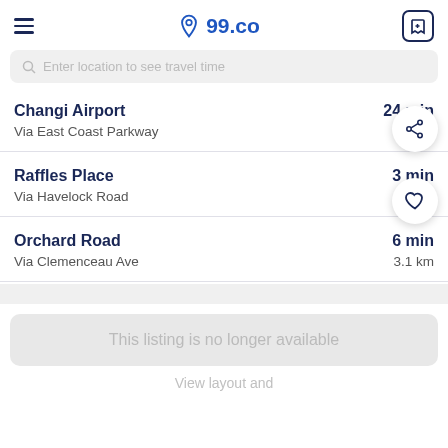99.co
Enter location to see travel time
Changi Airport | Via East Coast Parkway | 24 min | 21. km
Raffles Place | Via Havelock Road | 3 min | 1.6 km
Orchard Road | Via Clemenceau Ave | 6 min | 3.1 km
This listing is no longer available
View layout and